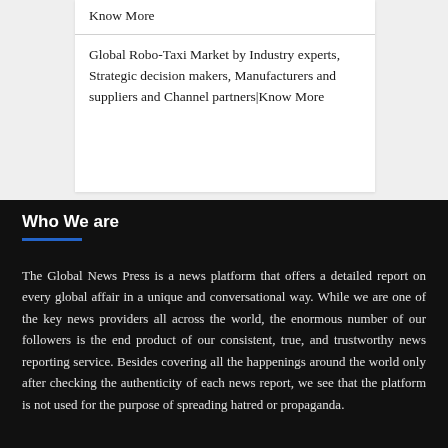Know More
Global Robo-Taxi Market by Industry experts, Strategic decision makers, Manufacturers and suppliers and Channel partners|Know More
Who We are
The Global News Press is a news platform that offers a detailed report on every global affair in a unique and conversational way. While we are one of the key news providers all across the world, the enormous number of our followers is the end product of our consistent, true, and trustworthy news reporting service. Besides covering all the happenings around the world only after checking the authenticity of each news report, we see that the platform is not used for the purpose of spreading hatred or propaganda.